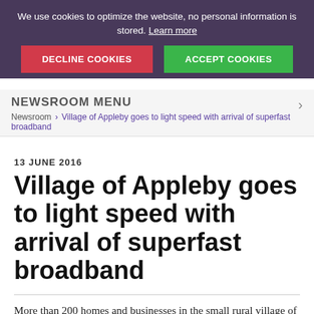We use cookies to optimize the website, no personal information is stored. Learn more
NEWSROOM MENU
Newsroom > Village of Appleby goes to light speed with arrival of superfast broadband
13 JUNE 2016
Village of Appleby goes to light speed with arrival of superfast broadband
More than 200 homes and businesses in the small rural village of Appleby...